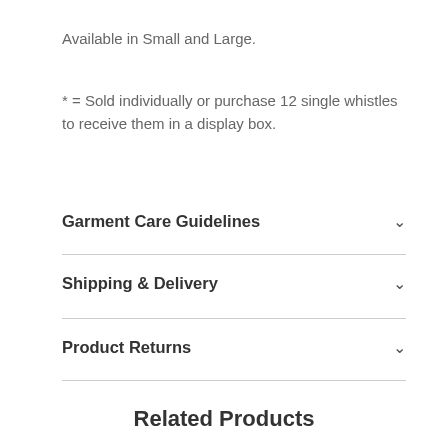Available in Small and Large.
* = Sold individually or purchase 12 single whistles to receive them in a display box.
Garment Care Guidelines
Shipping & Delivery
Product Returns
Related Products